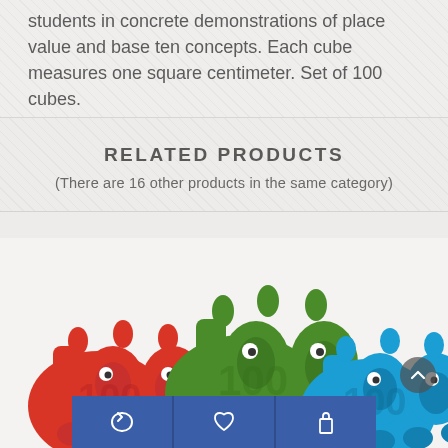students in concrete demonstrations of place value and base ten concepts. Each cube measures one square centimeter. Set of 100 cubes.
RELATED PRODUCTS
(There are 16 other products in the same category)
[Figure (photo): Three colorful foam or plastic '100' shaped character figures in red, green, and blue, arranged overlapping each other against a light background.]